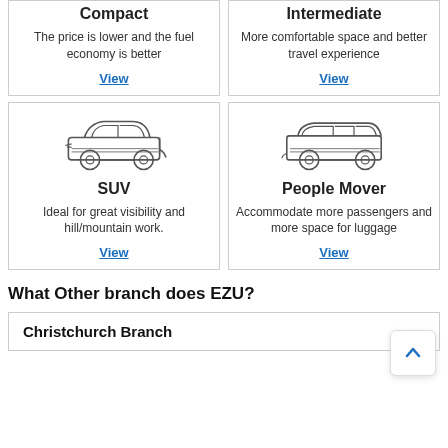Compact
The price is lower and the fuel economy is better
View
Intermediate
More comfortable space and better travel experience
View
[Figure (illustration): Line drawing of an SUV car from the side]
SUV
Ideal for great visibility and hill/mountain work.
View
[Figure (illustration): Line drawing of a people mover / minivan from the side]
People Mover
Accommodate more passengers and more space for luggage
View
What Other branch does EZU?
Christchurch Branch